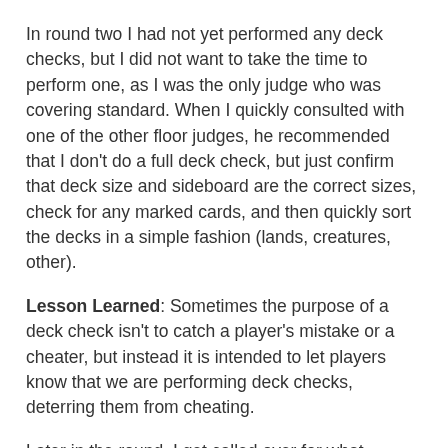In round two I had not yet performed any deck checks, but I did not want to take the time to perform one, as I was the only judge who was covering standard. When I quickly consulted with one of the other floor judges, he recommended that I don't do a full deck check, but just confirm that deck size and sideboard are the correct sizes, check for any marked cards, and then quickly sort the decks in a simple fashion (lands, creatures, other).
Lesson Learned: Sometimes the purpose of a deck check isn't to catch a player's mistake or a cheater, but instead it is intended to let players know that we are performing deck checks, deterring them from cheating.
Later in the round, I get called over for what appears to be a straight forward Improper Drawing at Start of Game. Neptune had drawn eight cards in his opening hand but had not yet looked at them. His opponent, Ares, laughed